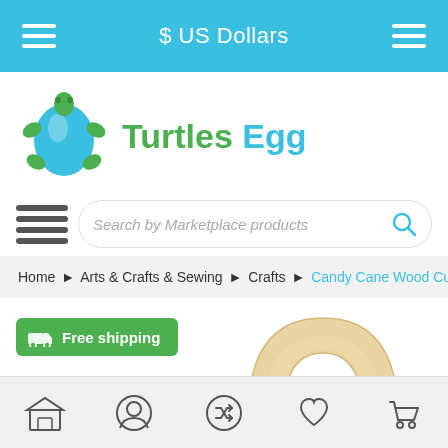$ US Dollars
[Figure (logo): Turtles Egg marketplace logo with turtle illustration and brand name]
Search by Marketplace products
Home ▶ Arts & Crafts & Sewing ▶ Crafts ▶ Candy Cane Wood Cu
[Figure (photo): Wooden horseshoe/candy cane shaped unfinished wood cutout craft piece]
Free shipping
Bottom navigation bar with store, profile, shuffle, wishlist, and cart icons